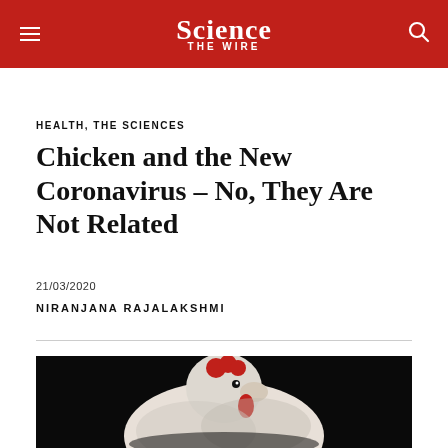Science The Wire
HEALTH, THE SCIENCES
Chicken and the New Coronavirus – No, They Are Not Related
21/03/2020
NIRANJANA RAJALAKSHMI
[Figure (photo): A white chicken with a red comb photographed against a black background]